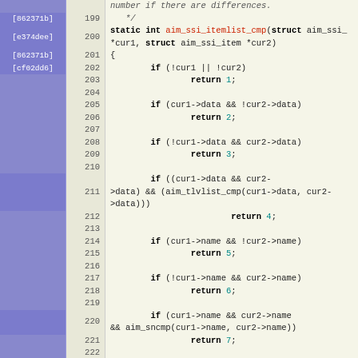[Figure (screenshot): Source code diff view showing C function aim_ssi_itemlist_cmp with git blame annotations, line numbers 199-226, on a beige background with purple git blame column.]